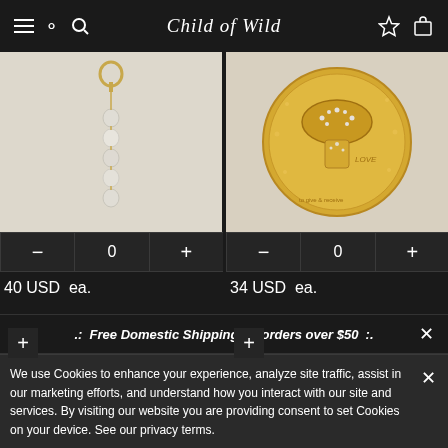Child of Wild
[Figure (photo): Pearl bead charm pendant on white/cream background]
40 USD  ea.
[Figure (photo): Gold coin charm with mushroom and crystal details, LOVE text, on cream background]
34 USD  ea.
[Figure (photo): Gold chain link charms on cream background]
[Figure (photo): Gold charm on cream background, partially visible]
.:  Free Domestic Shipping on orders over $50  :.
We use Cookies to enhance your experience, analyze site traffic, assist in our marketing efforts, and understand how you interact with our site and services. By visiting our website you are providing consent to set Cookies on your device. See our privacy terms.